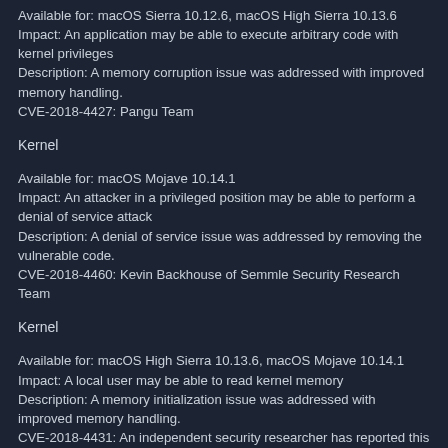Available for: macOS Sierra 10.12.6, macOS High Sierra 10.13.6
Impact: An application may be able to execute arbitrary code with kernel privileges
Description: A memory corruption issue was addressed with improved memory handling.
CVE-2018-4427: Pangu Team
Kernel
Available for: macOS Mojave 10.14.1
Impact: An attacker in a privileged position may be able to perform a denial of service attack
Description: A denial of service issue was addressed by removing the vulnerable code.
CVE-2018-4460: Kevin Backhouse of Semmle Security Research Team
Kernel
Available for: macOS High Sierra 10.13.6, macOS Mojave 10.14.1
Impact: A local user may be able to read kernel memory
Description: A memory initialization issue was addressed with improved memory handling.
CVE-2018-4431: An independent security researcher has reported this vulnerability to Beyond Security's SecuriTeam Secure Disclosure program
Kernel
Available for: macOS Sierra 10.12.6, macOS High Sierra 10.13.6, macOS Mojave 10.14.1
Impact: An application may be able to execute arbitrary code with kernel privileges
Description: A memory corruption issue was addressed with improved state management.
CVE-2018-4447: Juwei Lin(@panicall) and Zhengyu Dong of TrendMicro